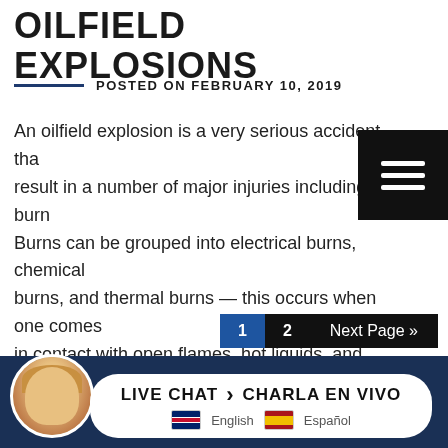OILFIELD EXPLOSIONS
POSTED ON FEBRUARY 10, 2019
An oilfield explosion is a very serious accident that can result in a number of major injuries including burns. Burns can be grouped into electrical burns, chemical burns, and thermal burns — this occurs when one comes in contact with open flames, hot liquids, and other heat source. It...
Read More →
1  2  Next Page »  LIVE CHAT  CHARLA EN VIVO  English  Español